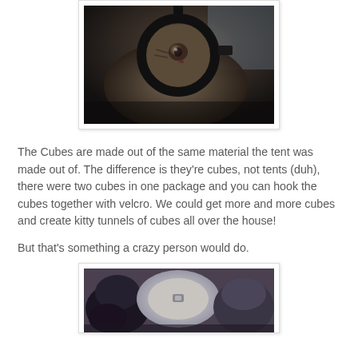[Figure (photo): A cat photographed from above, peering through a circular ring-shaped object, in low-light dark tones.]
The Cubes are made out of the same material the tent was made out of. The difference is they're cubes, not tents (duh), there were two cubes in one package and you can hook the cubes together with velcro. We could get more and more cubes and create kitty tunnels of cubes all over the house!
But that's something a crazy person would do.
[Figure (photo): Two pet cubes/tunnels shown side by side with a cat partially visible, viewed from above. The cubes appear to be collapsible fabric with circular openings.]